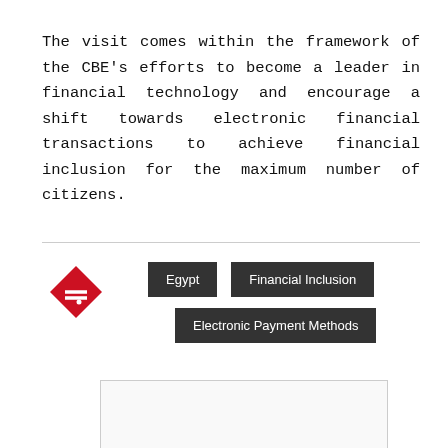The visit comes within the framework of the CBE's efforts to become a leader in financial technology and encourage a shift towards electronic financial transactions to achieve financial inclusion for the maximum number of citizens.
[Figure (other): Red tag/label icon (diamond shape with double lines)]
Egypt
Financial Inclusion
Electronic Payment Methods
[Figure (photo): Empty image placeholder box with light border]